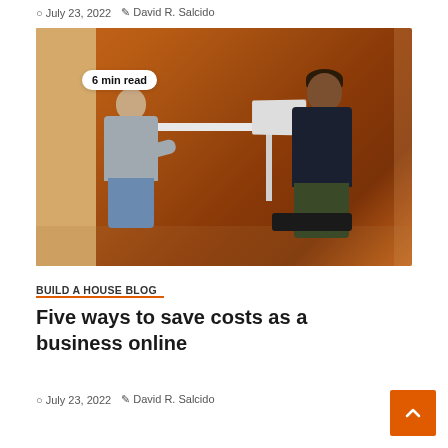July 23, 2022  David R. Salcido
[Figure (photo): Two men sitting across from each other at a small white table in an orange-walled booth, one using a laptop, photographed from the side. Badge overlay reads '6 min read'.]
BUILD A HOUSE BLOG
Five ways to save costs as a business online
July 23, 2022  David R. Salcido